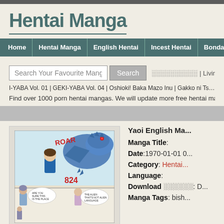Hentai Manga
Home | Hentai Manga | English Hentai | Incest Hentai | Bondage Hentai | Free He...
Search Your Favourite Manga  [Search]  ░░░░░░░░░░ | Living with | ░░░
I-YABA Vol. 01 | GEKI-YABA Vol. 04 | Oshioki! Baka Mazo Inu | Gakko ni Tsutome...
Find over 1000 porn hentai mangas. We will update more free hentai mangas for ...
[Figure (illustration): Manga cover art showing a character with a dragon, action scene with text 'ROAR' and '824']
Yaoi English Ma... Manga Title: Date:1970-01-01 0... Category: Hentai... Language: Download ░░░░░░: D... Manga Tags: bish...